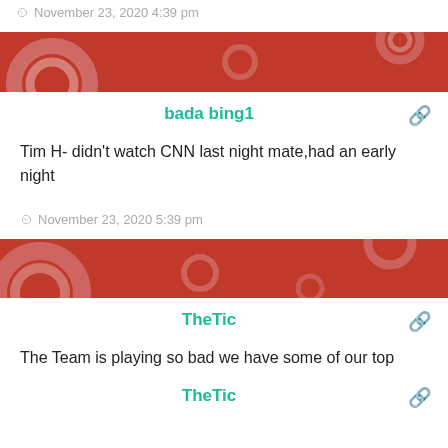November 23, 2020 4:39 pm
bada bing1
Tim H- didn't watch CNN last night mate,had an early night
November 23, 2020 5:39 pm
TheTic
The Team is playing so bad we have some of our top bloggers handing in their season tickets to the blog. We have hit rock bottom. Bobby and Mahe you are sitting in the PL seat how are you going to turn things around?
November 23, 2020 5:40 pm
TheTic